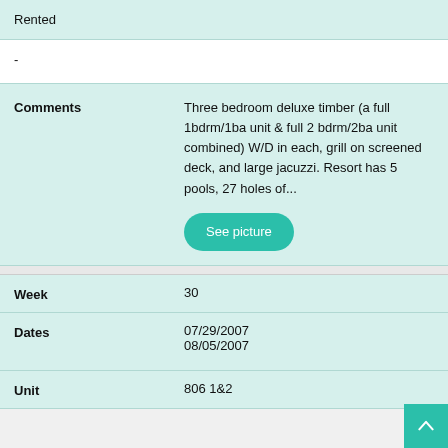Rented
-
Comments
Three bedroom deluxe timber (a full 1bdrm/1ba unit & full 2 bdrm/2ba unit combined) W/D in each, grill on screened deck, and large jacuzzi. Resort has 5 pools, 27 holes of...
See picture
Week
30
Dates
07/29/2007
08/05/2007
Unit
806 1&2